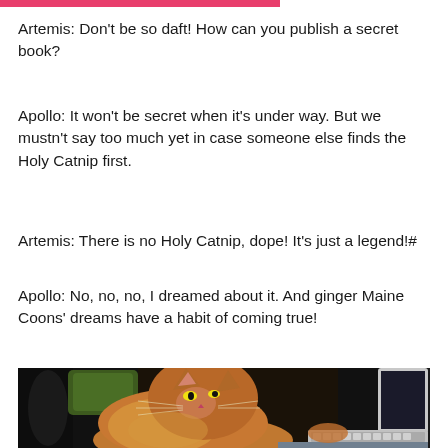Artemis: Don’t be so daft! How can you publish a secret book?
Apollo: It won’t be secret when it’s under way. But we mustn’t say too much yet in case someone else finds the Holy Catnip first.
Artemis: There is no Holy Catnip, dope! It’s just a legend!#
Apollo: No, no, no, I dreamed about it. And ginger Maine Coons’ dreams have a habit of coming true!
[Figure (photo): A ginger Maine Coon cat looking up, sitting near a keyboard and laptop, with a dark background and green cushion visible]